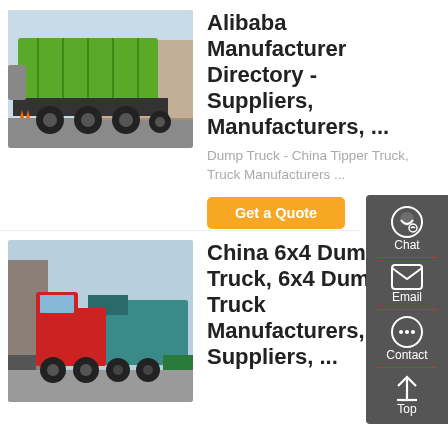[Figure (photo): Green dump/tipper truck photographed from the rear-side in a yard]
Alibaba Manufacturer Directory - Suppliers, Manufacturers, ...
Dump Truck - China Tipper Truck, Truck Manufacturers ...
Get a Quote
[Figure (photo): Red and teal 6x4 dump trucks parked in a truck yard]
China 6x4 Dump Truck, 6x4 Dump Truck Manufacturers, Suppliers, ...